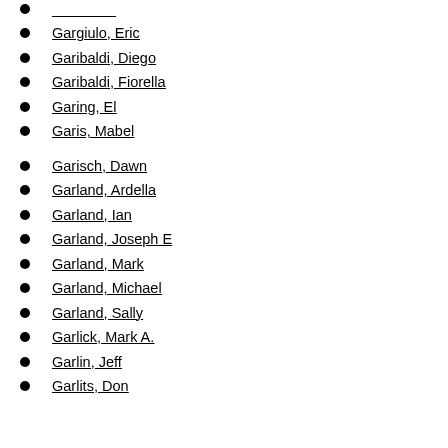Gargiulo, Eric
Garibaldi, Diego
Garibaldi, Fiorella
Garing, El
Garis, Mabel
Garisch, Dawn
Garland, Ardella
Garland, Ian
Garland, Joseph E
Garland, Mark
Garland, Michael
Garland, Sally
Garlick, Mark A.
Garlin, Jeff
Garlits, Don